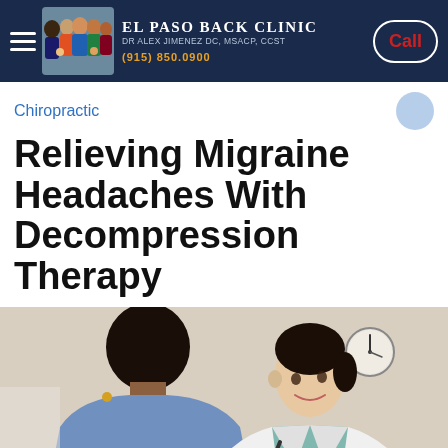El Paso Back Clinic | Dr Alex Jimenez DC, MSACP, CCST | (915) 850.0900 | Call
Chiropractic
Relieving Migraine Headaches With Decompression Therapy
[Figure (photo): A doctor in a white coat with stethoscope consulting with a patient in a clinical setting, with a wall clock visible in the background.]